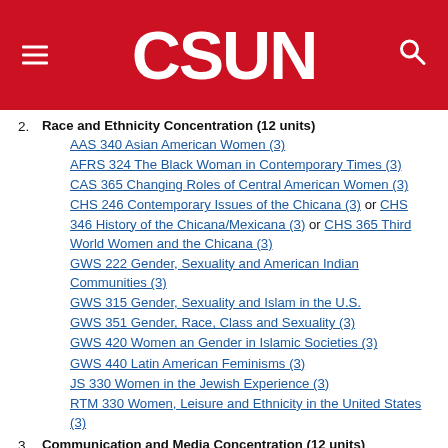CSUN
2. Race and Ethnicity Concentration (12 units)
AAS 340 Asian American Women (3)
AFRS 324 The Black Woman in Contemporary Times (3)
CAS 365 Changing Roles of Central American Women (3)
CHS 246 Contemporary Issues of the Chicana (3) or CHS 346 History of the Chicana/Mexicana (3) or CHS 365 Third World Women and the Chicana (3)
GWS 222 Gender, Sexuality and American Indian Communities (3)
GWS 315 Gender, Sexuality and Islam in the U.S.
GWS 351 Gender, Race, Class and Sexuality (3)
GWS 420 Women an Gender in Islamic Societies (3)
GWS 440 Latin American Feminisms (3)
JS 330 Women in the Jewish Experience (3)
RTM 330 Women, Leisure and Ethnicity in the United States (3)
3. Communication and Media Concentration (12 units)
ART 468 History of Women in the Visual Arts (3) or CTVA